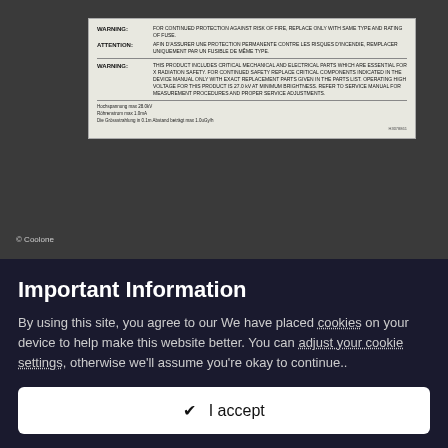[Figure (photo): Photo of the back of a dark-colored electronic device (likely a monitor or TV) showing a warning/attention label sticker with multilingual safety warnings about fuse replacement and X-radiation. Copyright watermark reads '© Coolone'.]
Motherboard tray
[Figure (photo): Partial photo of a motherboard tray showing connectors and ventilation slots, placed on a wooden surface.]
Important Information
By using this site, you agree to our We have placed cookies on your device to help make this website better. You can adjust your cookie settings, otherwise we'll assume you're okay to continue..
✔ I accept